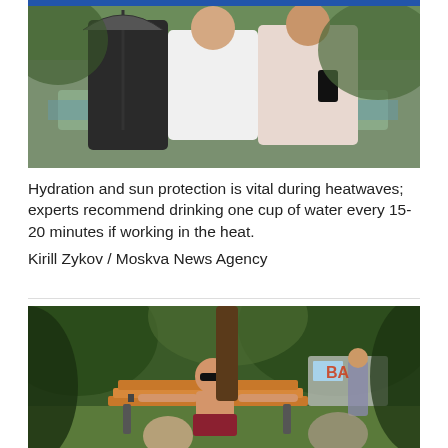[Figure (photo): Two women standing near a fountain outdoors on a hot day; one holds an umbrella and the other holds a phone]
Hydration and sun protection is vital during heatwaves; experts recommend drinking one cup of water every 15-20 minutes if working in the heat.
Kirill Zykov / Moskva News Agency
[Figure (photo): A shirtless man sitting on a park bench with sunglasses on a hot summer day; other people visible in a leafy park background]